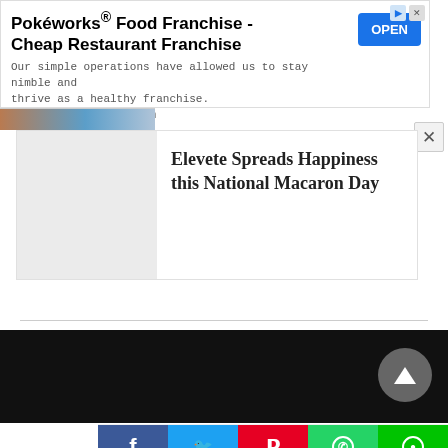[Figure (screenshot): Advertisement banner for Pokéworks Food Franchise with blue OPEN button]
Elevete Spreads Happiness this National Macaron Day
[Figure (screenshot): Dark footer section with back-to-top triangle button]
[Figure (infographic): Social share buttons: Facebook (blue), Twitter (light blue), Pinterest (red), WhatsApp (green), LINE (green)]